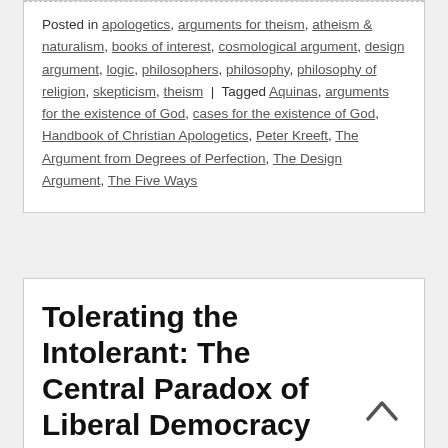Posted in apologetics, arguments for theism, atheism & naturalism, books of interest, cosmological argument, design argument, logic, philosophers, philosophy, philosophy of religion, skepticism, theism | Tagged Aquinas, arguments for the existence of God, cases for the existence of God, Handbook of Christian Apologetics, Peter Kreeft, The Argument from Degrees of Perfection, The Design Argument, The Five Ways
Tolerating the Intolerant: The Central Paradox of Liberal Democracy